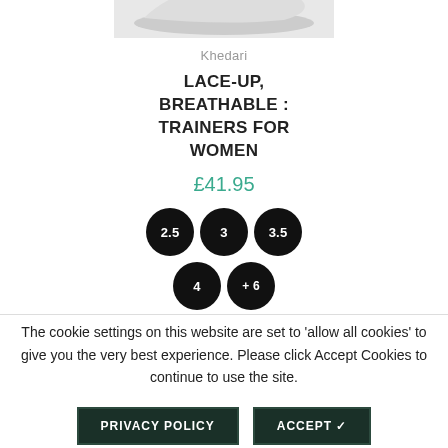[Figure (photo): Partial view of a women's trainer/sneaker shoe shown from above, white with grey details]
Khedari
LACE-UP, BREATHABLE : TRAINERS FOR WOMEN
£41.95
Size options: 2.5, 3, 3.5, 4, +6
The cookie settings on this website are set to 'allow all cookies' to give you the very best experience. Please click Accept Cookies to continue to use the site.
PRIVACY POLICY
ACCEPT ✓